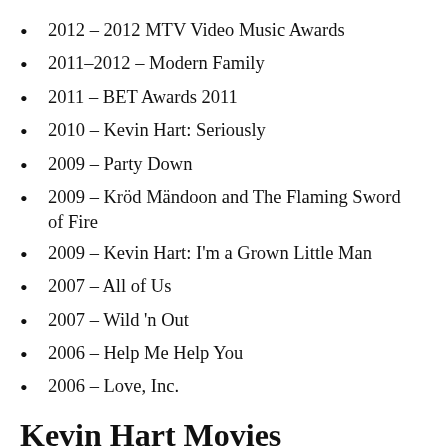2012 – 2012 MTV Video Music Awards
2011–2012 – Modern Family
2011 – BET Awards 2011
2010 – Kevin Hart: Seriously
2009 – Party Down
2009 – Kröd Mändoon and The Flaming Sword of Fire
2009 – Kevin Hart: I'm a Grown Little Man
2007 – All of Us
2007 – Wild 'n Out
2006 – Help Me Help You
2006 – Love, Inc.
Kevin Hart Movies